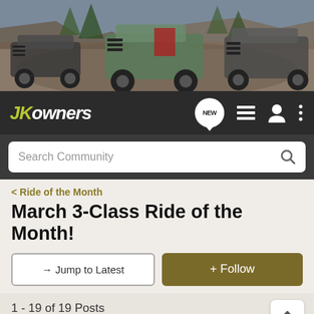[Figure (photo): Banner photo showing three Jeep Wrangler JK vehicles crawling over rocks in an outdoor off-road setting with trees and rocky terrain]
[Figure (logo): JKOwners forum logo in yellow-green italic bold text on dark background nav bar, with NEW chat bubble icon, list icon, user icon, and three-dot menu icon]
[Figure (screenshot): Search Community search bar on dark gray background]
< Ride of the Month
March 3-Class Ride of the Month!
→ Jump to Latest
+ Follow
1 - 19 of 19 Posts
TXROCK · Premium Member 🇺🇸
Joined Jul 14, 2009 · 3,844 Posts